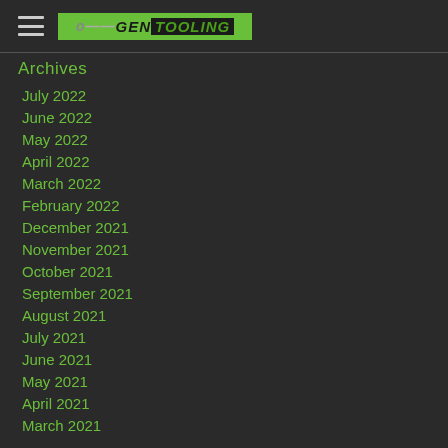GEN TOOLING
Archives
July 2022
June 2022
May 2022
April 2022
March 2022
February 2022
December 2021
November 2021
October 2021
September 2021
August 2021
July 2021
June 2021
May 2021
April 2021
March 2021